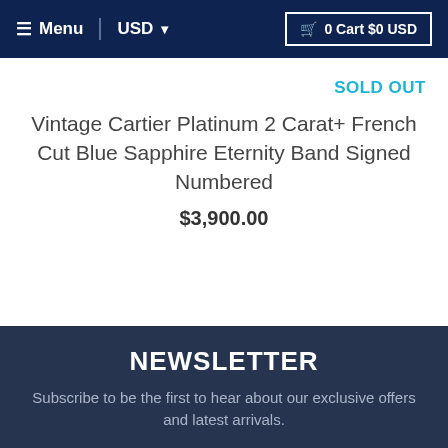≡ Menu  USD ▾  🛍 0 Cart $0 USD
SOLD OUT
Vintage Cartier Platinum 2 Carat+ French Cut Blue Sapphire Eternity Band Signed Numbered
$3,900.00
NEWSLETTER
Subscribe to be the first to hear about our exclusive offers and latest arrivals.